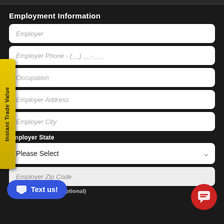Employment Information
Employer
Employer Phone - (__) __-___
Occupation
Employer Address
Employer City
Employer State
Please Select
Employer Zip Code
Employer Country (optional)
[Figure (other): Instant Trade Value vertical badge on left side, yellow background with black bold text rotated 90 degrees]
[Figure (other): Text us! button, blue pill shape with chat icon and white text]
[Figure (other): Red circular chat button in bottom right corner]